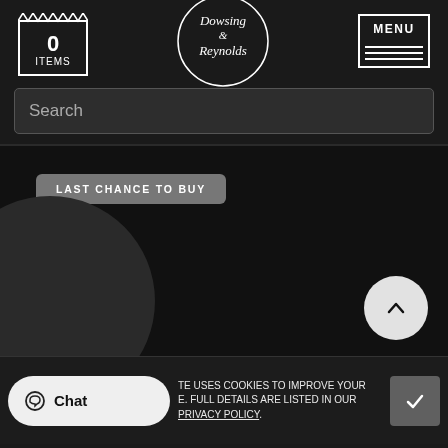[Figure (logo): Dowsing & Reynolds circular logo with script text]
0 ITEMS
MENU
Search
LAST CHANCE TO BUY
Chat
TE USES COOKIES TO IMPROVE YOUR E. FULL DETAILS ARE LISTED IN OUR PRIVACY POLICY.